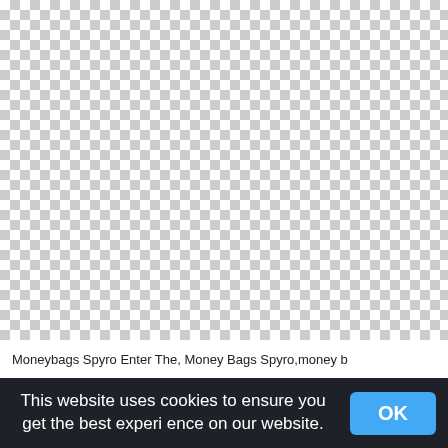[Figure (other): Checkerboard transparency pattern area, white and light gray squares, representing a transparent image background]
Moneybags Spyro Enter The, Money Bags Spyro,money b
This website uses cookies to ensure you get the best experience on our website.